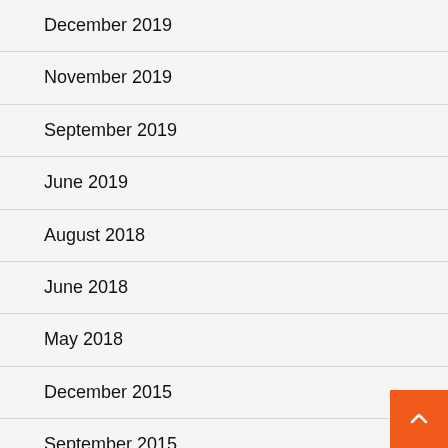December 2019
November 2019
September 2019
June 2019
August 2018
June 2018
May 2018
December 2015
September 2015
January 2015